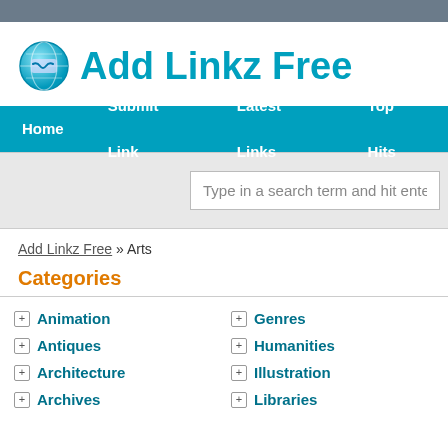[Figure (logo): Add Linkz Free website logo with globe icon and teal text]
Home   Submit Link   Latest Links   Top Hits
Type in a search term and hit enter
Add Linkz Free » Arts
Categories
Animation
Antiques
Architecture
Archives
Genres
Humanities
Illustration
Libraries